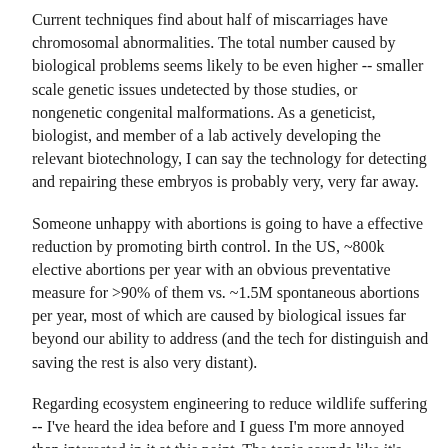Current techniques find about half of miscarriages have chromosomal abnormalities. The total number caused by biological problems seems likely to be even higher -- smaller scale genetic issues undetected by those studies, or nongenetic congenital malformations. As a geneticist, biologist, and member of a lab actively developing the relevant biotechnology, I can say the technology for detecting and repairing these embryos is probably very, very far away.
Someone unhappy with abortions is going to have a effective reduction by promoting birth control. In the US, ~800k elective abortions per year with an obvious preventative measure for >90% of them vs. ~1.5M spontaneous abortions per year, most of which are caused by biological issues far beyond our ability to address (and the tech for distinguish and saving the rest is also very distant).
Regarding ecosystem engineering to reduce wildlife suffering -- I've heard the idea before and I guess I'm more annoyed than interested in it at this point. The topic sounds like it's more about interesting thought experiments than sincere moral concern. (Sorry, I don't know how to say that without coming off as harsh.) There's a massive unnatural predation issue that could be addressed right now: feral and pet cats. http://articles.washingtonpost.com/2013-01-